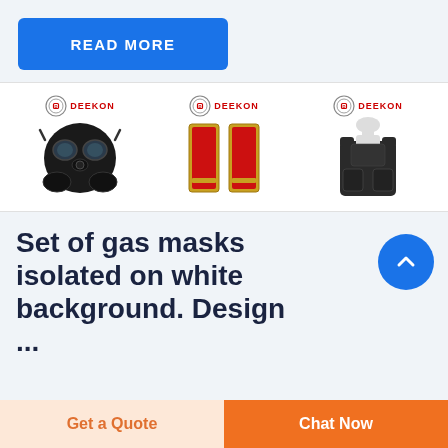[Figure (other): Blue 'READ MORE' button]
[Figure (other): Three product images with DEEKON branding: gas mask, military epaulettes/shoulder boards, and bulletproof vest]
Set of gas masks isolated on white background. Design ...
[Figure (other): Blue circular scroll-up arrow button]
Get a Quote
Chat Now